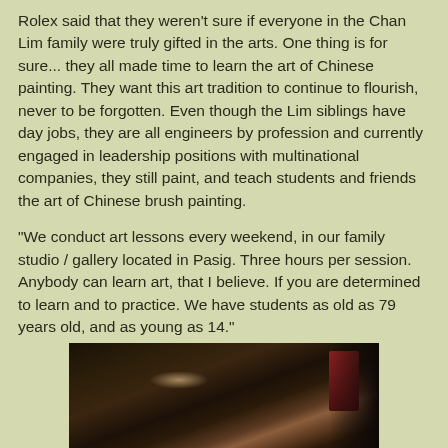Rolex said that they weren't sure if everyone in the Chan Lim family were truly gifted in the arts.  One thing is for sure... they all made time to learn the art of Chinese painting.  They want this art tradition to continue to flourish, never to be forgotten.  Even though the Lim siblings have day jobs, they are all engineers by profession and currently engaged in leadership positions with multinational companies, they still paint, and teach students and friends the art of Chinese brush painting.
"We conduct art lessons every weekend, in our family studio / gallery located in Pasig.  Three hours per session.  Anybody can learn art, that I believe.  If you are determined to learn and to practice.  We have students as old as 79 years old, and as young as 14."
[Figure (photo): A dark, dimly lit photograph showing what appears to be art supplies or brushes in a studio setting, with a reddish object visible on the right side.]